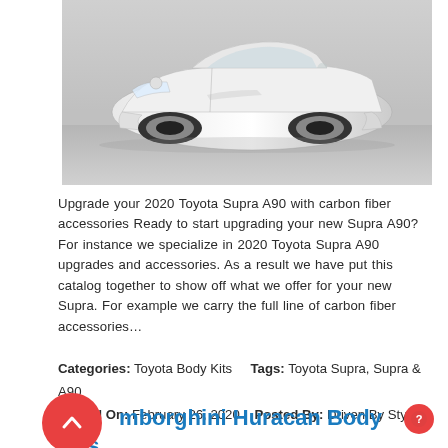[Figure (photo): White Toyota Supra A90 sports car photographed in a studio setting on a gray floor]
Upgrade your 2020 Toyota Supra A90 with carbon fiber accessories Ready to start upgrading your new Supra A90? For instance we specialize in 2020 Toyota Supra A90 upgrades and accessories. As a result we have put this catalog together to show off what we offer for your new Supra. For example we carry the full line of carbon fiber accessories…
Categories: Toyota Body Kits    Tags: Toyota Supra, Supra & A90
Posted On: February 26, 2020    Posted By: Driven By Style LLC
Lamborghini Huracan Body Kits and Aerodynamics Upgrades